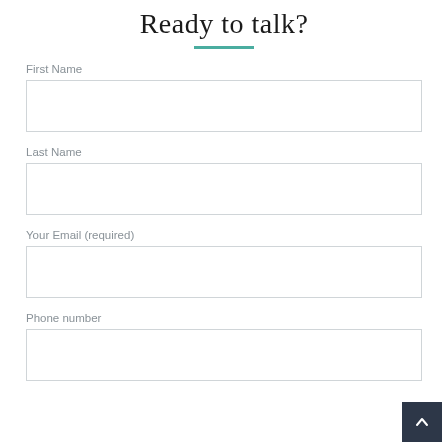Ready to talk?
First Name
Last Name
Your Email (required)
Phone number